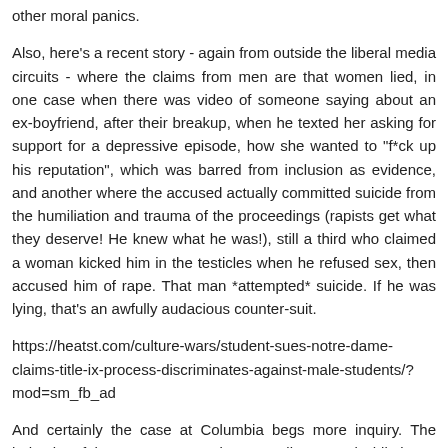other moral panics.
Also, here's a recent story - again from outside the liberal media circuits - where the claims from men are that women lied, in one case when there was video of someone saying about an ex-boyfriend, after their breakup, when he texted her asking for support for a depressive episode, how she wanted to "f*ck up his reputation", which was barred from inclusion as evidence, and another where the accused actually committed suicide from the humiliation and trauma of the proceedings (rapists get what they deserve! He knew what he was!), still a third who claimed a woman kicked him in the testicles when he refused sex, then accused him of rape. That man *attempted* suicide. If he was lying, that's an awfully audacious counter-suit.
https://heatst.com/culture-wars/student-sues-notre-dame-claims-title-ix-process-discriminates-against-male-students/?mod=sm_fb_ad
And certainly the case at Columbia begs more inquiry. The behavior of the accuser was quite contradictory, and while it